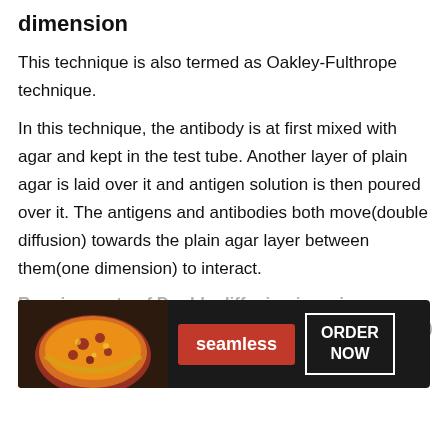dimension
This technique is also termed as Oakley-Fulthrope technique.
In this technique, the antibody is at first mixed with agar and kept in the test tube. Another layer of plain agar is laid over it and antigen solution is then poured over it. The antigens and antibodies both move(double diffusion) towards the plain agar layer between them(one dimension) to interact.
Requirements of Double diffusion in a si
Test ...
Chemicals, Antibody, and Antigen solutions
[Figure (infographic): Seamless food delivery advertisement banner with pizza image, red Seamless logo button, and ORDER NOW button on dark background]